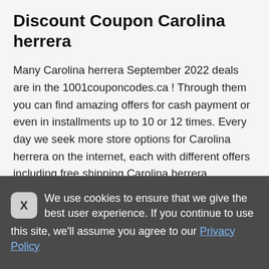Discount Coupon Carolina herrera
Many Carolina herrera September 2022 deals are in the 1001couponcodes.ca ! Through them you can find amazing offers for cash payment or even in installments up to 10 or 12 times. Every day we seek more store options for Carolina herrera on the internet, each with different offers including free shipping Carolina herrera, installment plans and discounts anywhere in Canada. Once you sign up to our site, you will receive exclusive Carolina herrera promotions and Carolina herrera offers from the largest and best online stores in Canada selected for you! Make your
We use cookies to ensure that we give the best user experience. If you continue to use this site, we'll assume you agree to our Privacy Policy